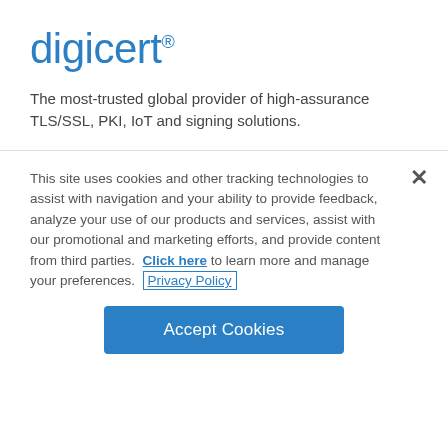[Figure (logo): DigiCert logo in blue text with registered trademark symbol]
The most-trusted global provider of high-assurance TLS/SSL, PKI, IoT and signing solutions.
This site uses cookies and other tracking technologies to assist with navigation and your ability to provide feedback, analyze your use of our products and services, assist with our promotional and marketing efforts, and provide content from third parties.  Click here to learn more and manage your preferences.  Privacy Policy
Accept Cookies